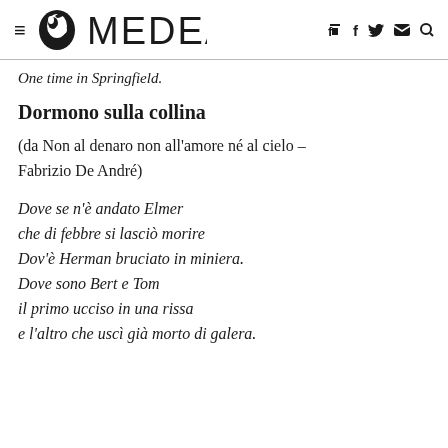MEDEA
One time in Springfield.
Dormono sulla collina
(da Non al denaro non all'amore né al cielo – Fabrizio De André)
Dove se n'è andato Elmer
che di febbre si lasciò morire
Dov'è Herman bruciato in miniera.
Dove sono Bert e Tom
il primo ucciso in una rissa
e l'altro che uscì già morto di galera.